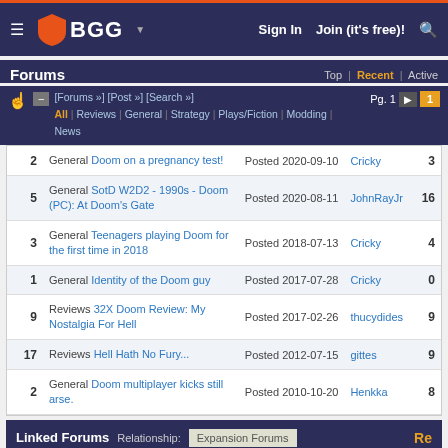BGG - BoardGameGeek navigation header with Sign In, Join (it's free)!, search
Forums — Top | Recent | Active
[Forums »] [Post »] [Search »] All | Reviews | General | Strategy | Plays/Fiction | Modding | News  Pg. 1
| # | Title | Posted | User | Replies |
| --- | --- | --- | --- | --- |
| 2 | General Doom on a pregnancy test! | Posted 2020-09-10 | Cricky | 3 |
| 5 | General SotD W2D2 - 1990s - Doom (PC): At Doom's Gate | Posted 2020-08-11 | JohnRayJr | 16 |
| 3 | General Teenagers playing Doom for the first time in 2018 | Posted 2018-07-13 | Cricky | 4 |
| 1 | General Identity of the Doom guy | Posted 2017-07-28 | Cricky | 0 |
| 9 | Reviews 32X Doom Review: My Nostalgia For Hell | Posted 2017-02-26 | thucydides | 9 |
| 17 | Reviews Hell Hath No Fury... | Posted 2012-07-15 | gittes | 9 |
| 2 | General Doom multiplayer kicks still arse. | Posted 2010-10-20 | Henkka | 8 |
Linked Forums  Relationship: Expansion Forums